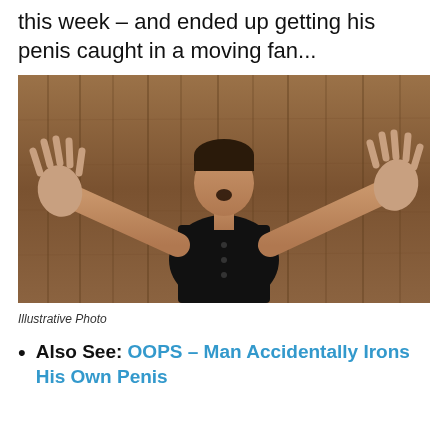than the guy who wanted to test on that this week – and ended up getting his penis caught in a moving fan...
[Figure (photo): Young man in black polo shirt with hands raised and mouth open in surprise, standing in front of a wooden plank background.]
Illustrative Photo
Also See: OOPS – Man Accidentally Irons His Own Penis